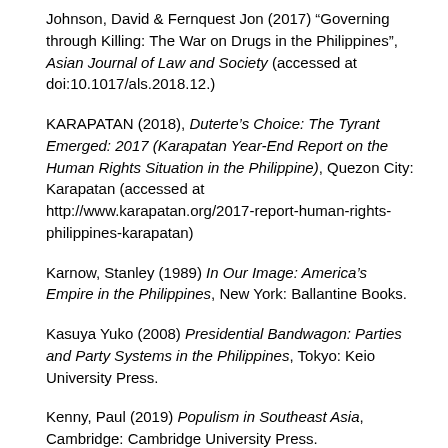Johnson, David & Fernquest Jon (2017) “Governing through Killing: The War on Drugs in the Philippines”, Asian Journal of Law and Society (accessed at doi:10.1017/als.2018.12.)
KARAPATAN (2018), Duterte’s Choice: The Tyrant Emerged: 2017 (Karapatan Year-End Report on the Human Rights Situation in the Philippine), Quezon City: Karapatan (accessed at http://www.karapatan.org/2017-report-human-rights-philippines-karapatan)
Karnow, Stanley (1989) In Our Image: America’s Empire in the Philippines, New York: Ballantine Books.
Kasuya Yuko (2008) Presidential Bandwagon: Parties and Party Systems in the Philippines, Tokyo: Keio University Press.
Kenny, Paul (2019) Populism in Southeast Asia, Cambridge: Cambridge University Press.